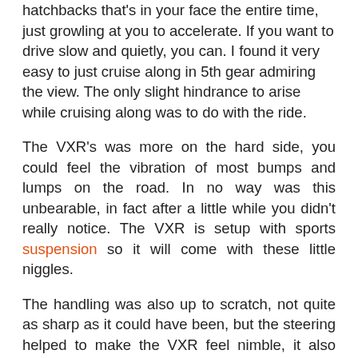hatchbacks that's in your face the entire time, just growling at you to accelerate. If you want to drive slow and quietly, you can. I found it very easy to just cruise along in 5th gear admiring the view. The only slight hindrance to arise while cruising along was to do with the ride.
The VXR's was more on the hard side, you could feel the vibration of most bumps and lumps on the road. In no way was this unbearable, in fact after a little while you didn't really notice. The VXR is setup with sports suspension so it will come with these little niggles.
The handling was also up to scratch, not quite as sharp as it could have been, but the steering helped to make the VXR feel nimble, it also backed up your confidence when taking corners at certain speeds. I found the brakes were like hitting a brick wall, Vauxhall clearly new that there would be a fair few people putting their foot down.